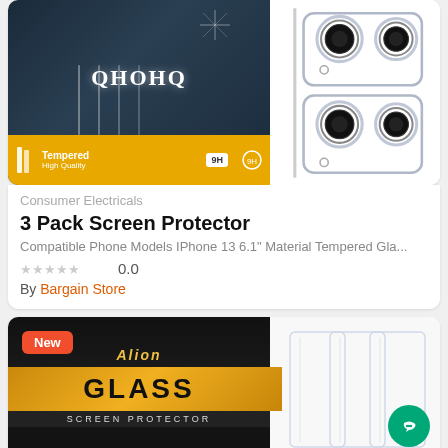[Figure (photo): Product image of QHOHQ 3 Pack Screen Protector with tempered glass packaging and camera lens protector rings on the right]
Consumer Electricals
3 Pack Screen Protector
Compatible Phone Models IPhone 13 6.1" Material Tempered Gla...
0.0
By Bargain Store
[Figure (photo): Product image of Alion Glass Screen Protector with gold packaging, showing glass sheets on right. New badge on top left.]